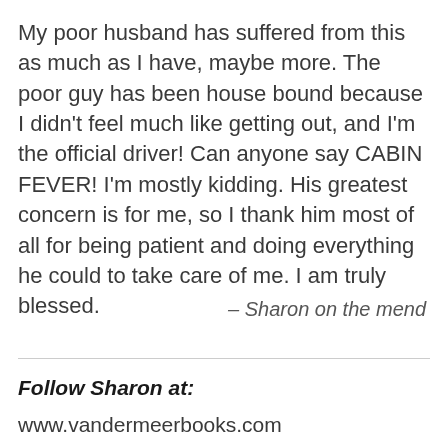My poor husband has suffered from this as much as I have, maybe more. The poor guy has been house bound because I didn't feel much like getting out, and I'm the official driver! Can anyone say CABIN FEVER! I'm mostly kidding. His greatest concern is for me, so I thank him most of all for being patient and doing everything he could to take care of me. I am truly blessed.
– Sharon on the mend
Follow Sharon at:
www.vandermeerbooks.com